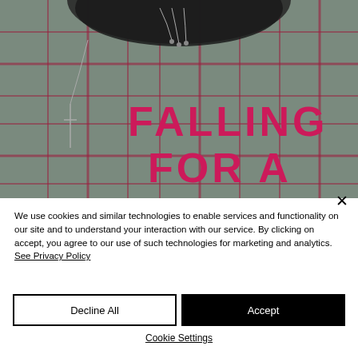[Figure (illustration): Book cover image showing a plaid/tartan grey fabric with red grid lines, a fur collar at top, a cross necklace on the left side, and bold pink/magenta text reading 'FALLING FOR A' overlaid on the fabric.]
We use cookies and similar technologies to enable services and functionality on our site and to understand your interaction with our service. By clicking on accept, you agree to our use of such technologies for marketing and analytics. See Privacy Policy
Decline All
Accept
Cookie Settings